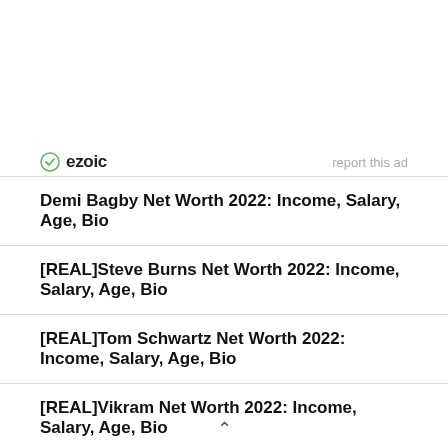[Figure (logo): Ezoic logo with green circular icon and bold 'ezoic' text, plus 'report this ad' link on the right]
Demi Bagby Net Worth 2022: Income, Salary, Age, Bio
[REAL]Steve Burns Net Worth 2022: Income, Salary, Age, Bio
[REAL]Tom Schwartz Net Worth 2022: Income, Salary, Age, Bio
[REAL]Vikram Net Worth 2022: Income, Salary, Age, Bio